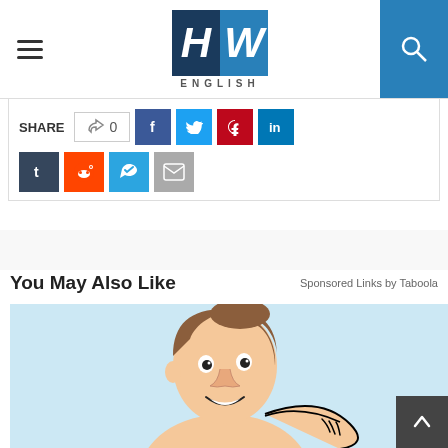HW ENGLISH
SHARE  0  f  t  p  in  t  (reddit)  (telegram)  (email)
You May Also Like
Sponsored Links by Taboola
[Figure (illustration): Cartoon illustration of a person scratching their back/neck, light blue background]